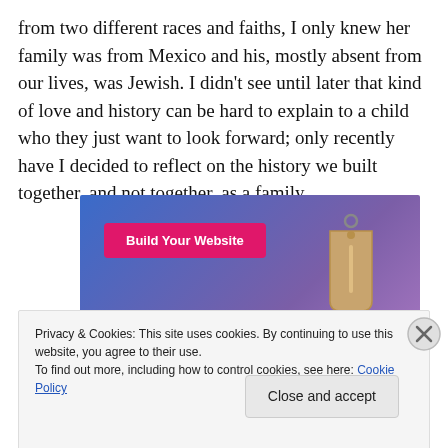from two different races and faiths, I only knew her family was from Mexico and his, mostly absent from our lives, was Jewish. I didn’t see until later that kind of love and history can be hard to explain to a child who they just want to look forward; only recently have I decided to reflect on the history we built together, and not together, as a family.
[Figure (illustration): Advertisement banner with blue-to-purple gradient background, a pink/magenta button labeled 'Build Your Website', and a hanging price tag graphic on the right side.]
Privacy & Cookies: This site uses cookies. By continuing to use this website, you agree to their use.
To find out more, including how to control cookies, see here: Cookie Policy
Close and accept